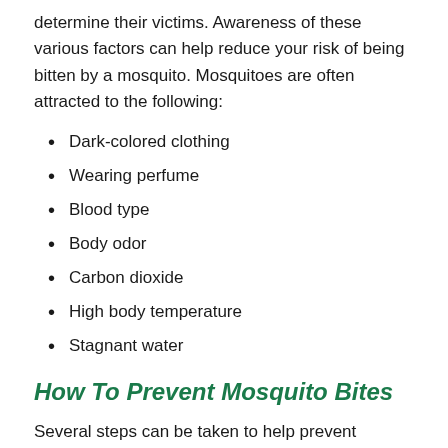determine their victims. Awareness of these various factors can help reduce your risk of being bitten by a mosquito. Mosquitoes are often attracted to the following:
Dark-colored clothing
Wearing perfume
Blood type
Body odor
Carbon dioxide
High body temperature
Stagnant water
How To Prevent Mosquito Bites
Several steps can be taken to help prevent mosquito bites. If you are going to an area where mosquitoes are present, we suggest you follow the steps listed below. Mosquitoes can carry and spread dangerous diseases. Steps to preventing mosquito